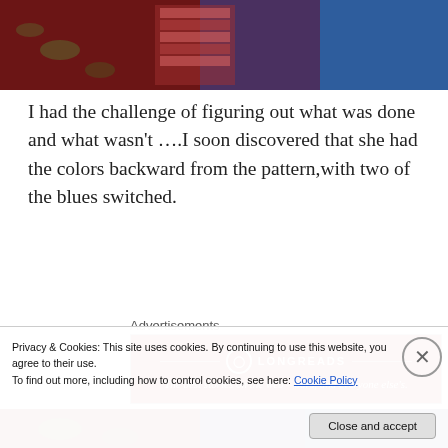[Figure (photo): Top portion of a photo showing fabric swatches on a dark red/floral patterned background, with blue fabric and a woven pattern visible]
I had the challenge of figuring out what was done and what wasn't ….I soon discovered that she had the colors backward from the pattern,with two of the blues switched.
Advertisements
[Figure (other): Longreads advertisement banner — red background with white logo circle, text: The best stories on the web – ours, and everyone else's.]
[Figure (photo): Bottom portion of a photo showing fabric stacks on a dark floral background with blue and grey fabrics]
Privacy & Cookies: This site uses cookies. By continuing to use this website, you agree to their use.
To find out more, including how to control cookies, see here: Cookie Policy
Close and accept